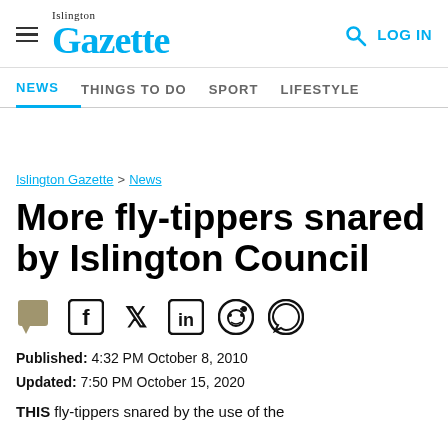Islington Gazette — Navigation header with hamburger menu, logo, search and LOG IN
NEWS | THINGS TO DO | SPORT | LIFESTYLE
Islington Gazette > News
More fly-tippers snared by Islington Council
[Figure (other): Social sharing icons: comment, Facebook, Twitter, LinkedIn, Reddit, WhatsApp]
Published: 4:32 PM October 8, 2010
Updated: 7:50 PM October 15, 2020
THIS fly-tippers snared by the use of the